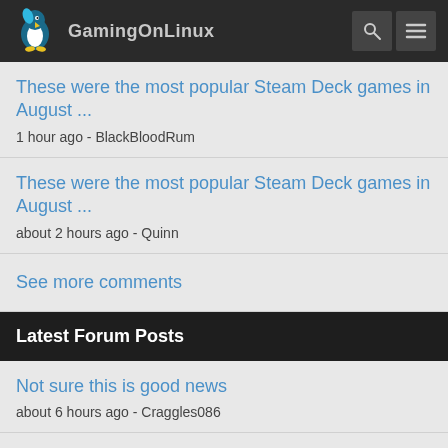GamingOnLinux
These were the most popular Steam Deck games in August ...
1 hour ago - BlackBloodRum
These were the most popular Steam Deck games in August ...
about 2 hours ago - Quinn
See more comments
Latest Forum Posts
Not sure this is good news
about 6 hours ago - Craggles086
How much of a performance difference is there?
about 10 hours ago - Thetargos